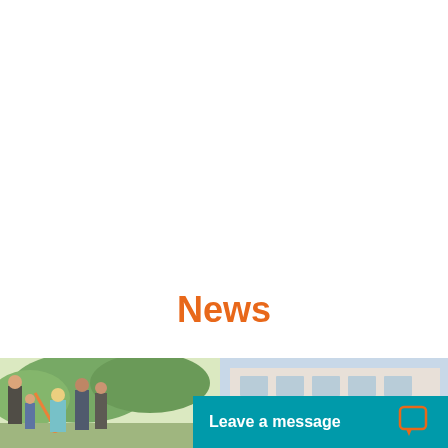News
[Figure (photo): Photo strip showing people outdoors on the left side (group of people with children and adults appearing to be in a garden or park setting) and a building exterior on the right side]
Leave a message